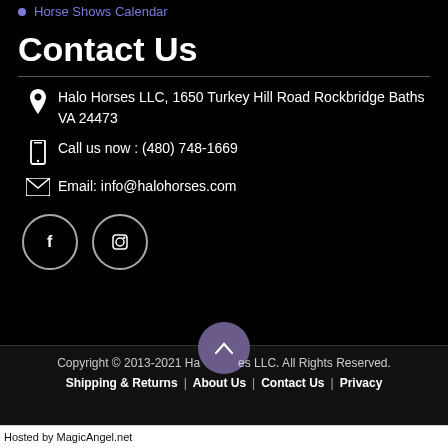Horse Shows Calendar
Contact Us
Halo Horses LLC, 1650 Turkey Hill Road Rockbridge Baths VA 24473
Call us now : (480) 748-1669
Email: info@halohorses.com
[Figure (other): Social media icons: Facebook and Instagram circles]
Copyright © 2013-2021 Halo Horses LLC. All Rights Reserved. | Shipping & Returns | About Us | Contact Us | Privacy
Hosted by MagicAngel.net